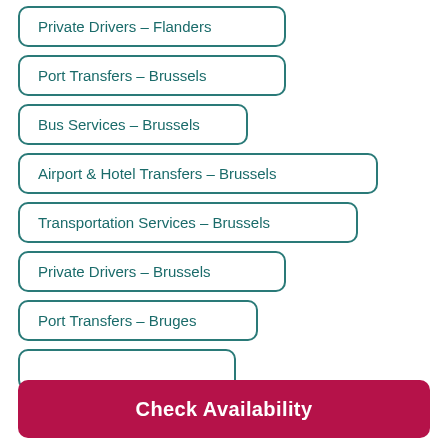Private Drivers - Flanders
Port Transfers - Brussels
Bus Services - Brussels
Airport & Hotel Transfers - Brussels
Transportation Services - Brussels
Private Drivers - Brussels
Port Transfers - Bruges
Check Availability